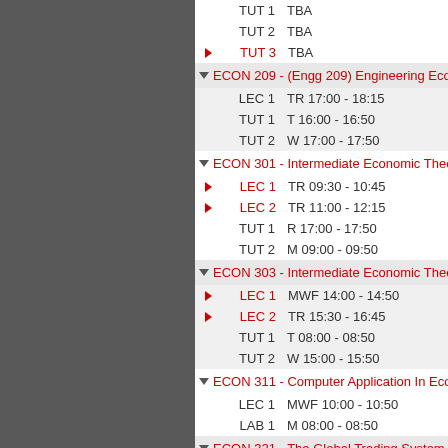TUT 1   TBA
TUT 2   TBA
▶ TUT 3   TBA
▼ ECON 209 - (Engg 209) Engineering Eco...
LEC 1   TR 17:00 - 18:15
TUT 1   T 16:00 - 16:50
TUT 2   W 17:00 - 17:50
▼ ECON 301 - Intermediate Economic Theo...
▶ LEC 1   TR 09:30 - 10:45
▶ LEC 2   TR 11:00 - 12:15
TUT 1   R 17:00 - 17:50
TUT 2   M 09:00 - 09:50
▼ ECON 303 - Intermediate Economic Theo...
▶ LEC 1   MWF 14:00 - 14:50
▶ LEC 2   TR 15:30 - 16:45
TUT 1   T 08:00 - 08:50
TUT 2   W 15:00 - 15:50
▼ ECON 311 - Computer Application In Eco...
LEC 1   MWF 10:00 - 10:50
LAB 1   M 08:00 - 08:50
▼ ECON 321 - The Global Trading System...